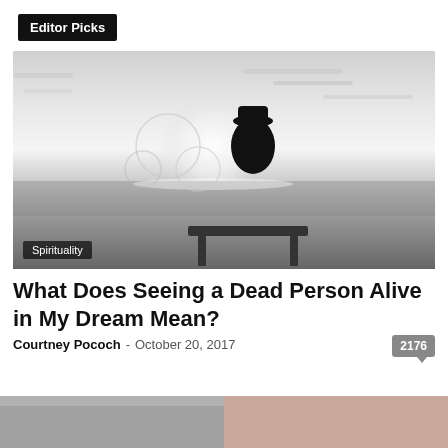Editor Picks
[Figure (photo): Black and white photo of a person in a hat and coat sitting on a bench by the ocean, with large bubbles floating in the foreground, viewed from behind. Moody, atmospheric scene.]
Spirituality
What Does Seeing a Dead Person Alive in My Dream Mean?
Courtney Pococh - October 20, 2017  2176
[Figure (photo): Partial bottom image, cropped, appears to show people.]